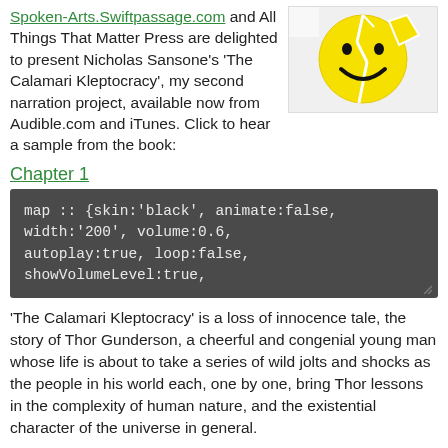Spoken-Arts.Swiftpassage.com and All Things That Matter Press are delighted to present Nicholas Sansone's 'The Calamari Kleptocracy', my second narration project, available now from Audible.com and iTunes. Click to hear a sample from the book:
[Figure (illustration): A broken yellow smiley face emoticon on a white background, showing cracks or shattered pieces]
Chapter 1
map :: {skin:'black', animate:false, width:'200', volume:0.6, autoplay:true, loop:false, showVolumeLevel:true,
'The Calamari Kleptocracy' is a loss of innocence tale, the story of Thor Gunderson, a cheerful and congenial young man whose life is about to take a series of wild jolts and shocks as the people in his world each, one by one, bring Thor lessons in the complexity of human nature, and the existential character of the universe in general.